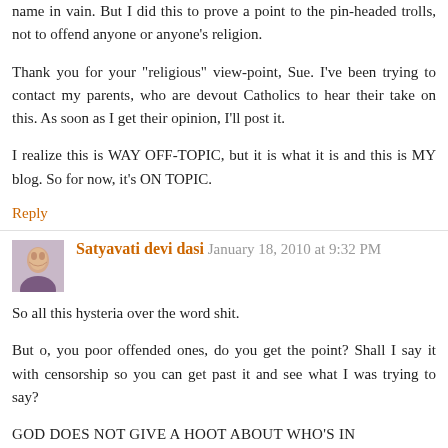name in vain. But I did this to prove a point to the pin-headed trolls, not to offend anyone or anyone's religion.
Thank you for your "religious" view-point, Sue. I've been trying to contact my parents, who are devout Catholics to hear their take on this. As soon as I get their opinion, I'll post it.
I realize this is WAY OFF-TOPIC, but it is what it is and this is MY blog. So for now, it's ON TOPIC.
Reply
Satyavati devi dasi January 18, 2010 at 9:32 PM
So all this hysteria over the word shit.
But o, you poor offended ones, do you get the point? Shall I say it with censorship so you can get past it and see what I was trying to say?
GOD DOES NOT GIVE A HOOT ABOUT WHO'S IN OFFICE